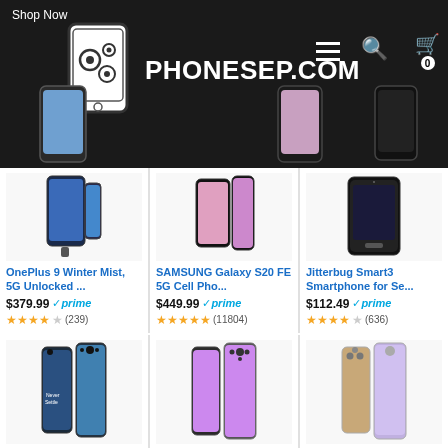Shop Now — PHONESEP.COM
[Figure (screenshot): Website header for PHONESEP.COM with logo, hamburger menu, search icon, and cart icon on dark background]
OnePlus 9 Winter Mist, 5G Unlocked ...
$379.99 ✓prime ★★★★☆ (239)
SAMSUNG Galaxy S20 FE 5G Cell Pho...
$449.99 ✓prime ★★★★★ (11804)
Jitterbug Smart3 Smartphone for Se...
$112.49 ✓prime ★★★★☆ (636)
OnePlus Nord N200 | 5G Unlocked And...
Moto G Stylus | 2021 | 2-Day Battery | Lock...
SAMSUNG Galaxy S21+ Plus 5G Fact...